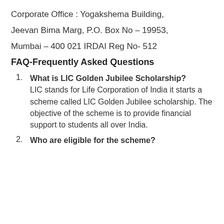Corporate Office : Yogakshema Building,
Jeevan Bima Marg, P.O. Box No – 19953,
Mumbai – 400 021 IRDAI Reg No- 512
FAQ-Frequently Asked Questions
What is LIC Golden Jubilee Scholarship? LIC stands for Life Corporation of India it starts a scheme called LIC Golden Jubilee scholarship. The objective of the scheme is to provide financial support to students all over India.
Who are eligible for the scheme?